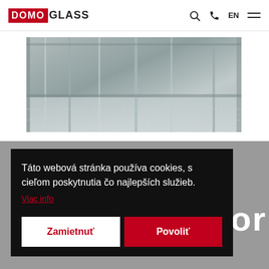[Figure (logo): DomoGlass logo: DOMO in red/white box, GLASS in black bold text]
[Figure (photo): Photo of glass door/partition interior architecture in gray tones]
Táto webová stránka používa cookies, s cieľom poskytnutia čo najlepších služieb.
Viac info
Zamietnuť
Povoliť
oor